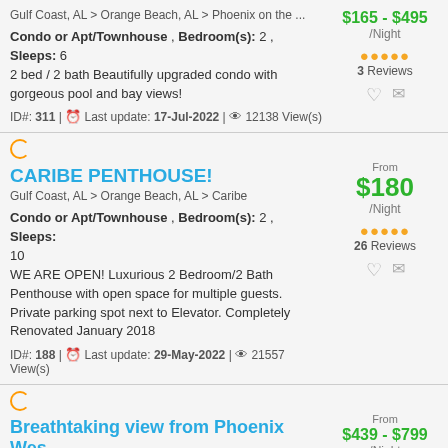Gulf Coast, AL > Orange Beach, AL > Phoenix on the ...
Condo or Apt/Townhouse , Bedroom(s): 2 , Sleeps: 6
2 bed / 2 bath Beautifully upgraded condo with gorgeous pool and bay views!
ID#: 311 | Last update: 17-Jul-2022 | 12138 View(s)
$165 - $495 /Night
3 Reviews
CARIBE PENTHOUSE!
Gulf Coast, AL > Orange Beach, AL > Caribe
Condo or Apt/Townhouse , Bedroom(s): 2 , Sleeps: 10
WE ARE OPEN! Luxurious 2 Bedroom/2 Bath Penthouse with open space for multiple guests. Private parking spot next to Elevator. Completely Renovated January 2018
ID#: 188 | Last update: 29-May-2022 | 21557 View(s)
From $180 /Night
26 Reviews
Breathtaking view from Phoenix Wes...
Gulf Coast, AL > Orange Beach, AL > Phoenix West II
From $439 - $799 /Night